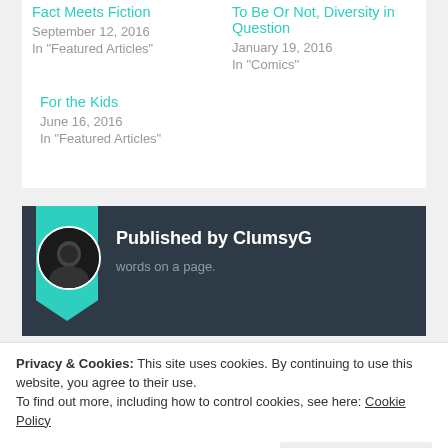Fact Meets Fiction
September 12, 2016
In "Featured Articles"
To Be Or Not, Diversity in Question
January 19, 2016
In "Comics"
For the Kids
June 16, 2016
In "Featured Articles"
Published by ClumsyG
words on a page.
Privacy & Cookies: This site uses cookies. By continuing to use this website, you agree to their use.
To find out more, including how to control cookies, see here: Cookie Policy
Close and accept
Featured Articles, Geekology, Recent Posts